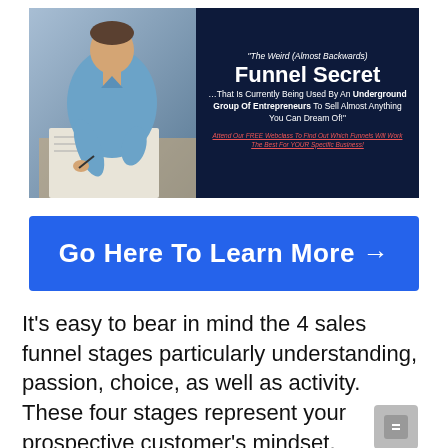[Figure (infographic): Advertisement banner showing a man writing at a desk on the left, and on the right a dark navy background with text: 'The Weird (Almost Backwards) Funnel Secret ...That Is Currently Being Used By An Underground Group Of Entrepreneurs To Sell Almost Anything You Can Dream Of!' with a red underlined call to action: 'Attend Our FREE Webclass To Find Out Which Funnels Will Work The Best For YOUR Specific Business!']
Go Here To Learn More →
It's easy to bear in mind the 4 sales funnel stages particularly understanding, passion, choice, as well as activity. These four stages represent your prospective customer's mindset.